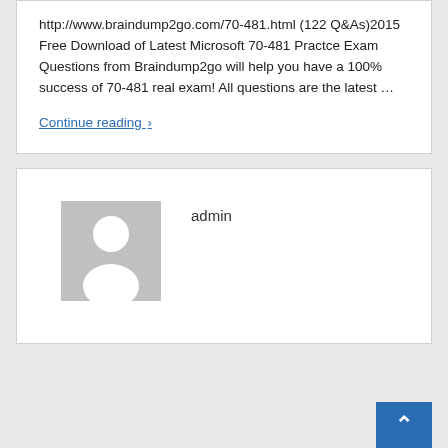http://www.braindump2go.com/70-481.html (122 Q&As)2015 Free Download of Latest Microsoft 70-481 Practce Exam Questions from Braindump2go will help you have a 100% success of 70-481 real exam! All questions are the latest …
Continue reading ›
[Figure (illustration): Generic user avatar placeholder — grey square with a white silhouette of a person (circle head, rounded shoulders)]
admin